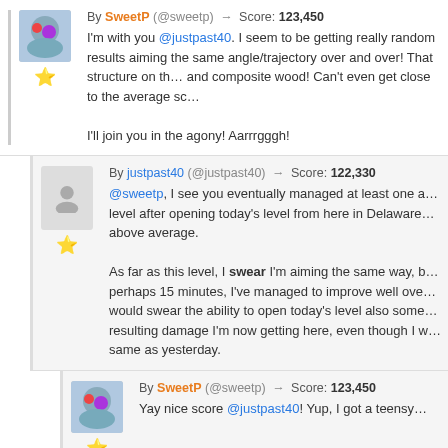By SweetP (@sweetp) → Score: 123,450
I'm with you @justpast40. I seem to be getting really random results aiming the same angle/trajectory over and over! That structure on the right is all glass and composite wood! Can't even get close to the average score.

I'll join you in the agony! Aarrrgggh!
By justpast40 (@justpast40) → Score: 122,330
@sweetp, I see you eventually managed at least one above average score on this level after opening today's level from here in Delaware. Your 123,450 is above average.

As far as this level, I swear I'm aiming the same way, but after playing for perhaps 15 minutes, I've managed to improve well over my earlier score. I would swear the ability to open today's level also somehow affects the resulting damage I'm now getting here, even though I was aiming the same as yesterday.
By SweetP (@sweetp) → Score: 123,450
Yay nice score @justpast40! Yup, I got a teensy